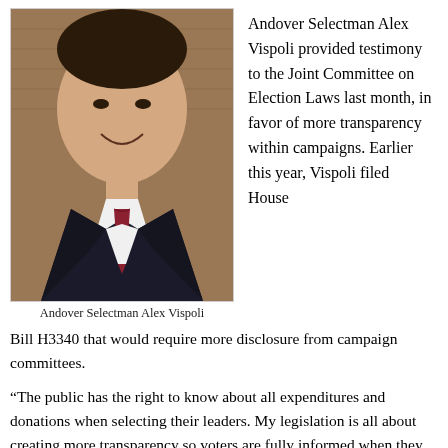[Figure (photo): Portrait photo of Andover Selectman Alex Vispoli, a middle-aged man in a dark suit and patterned tie, smiling at the camera, against a brick wall background.]
Andover Selectman Alex Vispoli
Andover Selectman Alex Vispoli provided testimony to the Joint Committee on Election Laws last month, in favor of more transparency within campaigns. Earlier this year, Vispoli filed House Bill H3340 that would require more disclosure from campaign committees.
“The public has the right to know about all expenditures and donations when selecting their leaders. My legislation is all about creating more transparency so voters are fully informed when they go to the polls,” said Vispoli.
Vispoli legislation would require the following reforms: